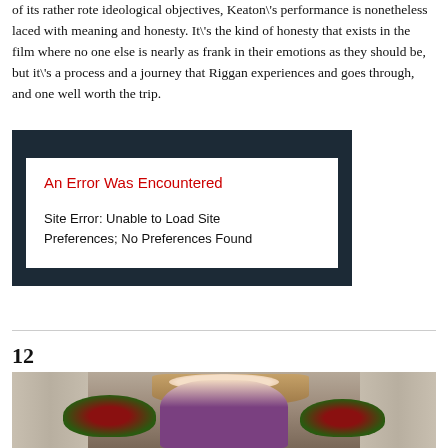of its rather rote ideological objectives, Keaton\'s performance is nonetheless laced with meaning and honesty. It\'s the kind of honesty that exists in the film where no one else is nearly as frank in their emotions as they should be, but it\'s a process and a journey that Riggan experiences and goes through, and one well worth the trip.
[Figure (screenshot): Screenshot of a website error message on a dark blue-grey background. A white box contains a red heading 'An Error Was Encountered' and body text 'Site Error: Unable to Load Site Preferences; No Preferences Found'.]
12
[Figure (photo): A photograph showing a woman with long reddish-blonde hair wearing a purple top, standing between two columns with flower arrangements on either side.]